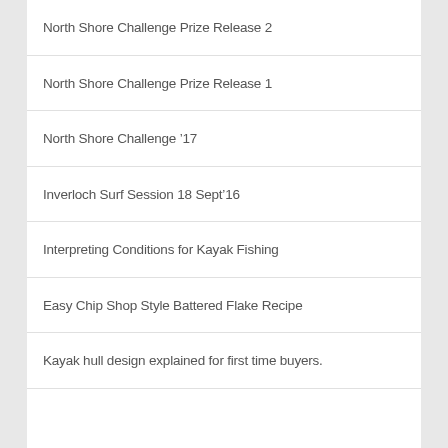North Shore Challenge Prize Release 2
North Shore Challenge Prize Release 1
North Shore Challenge ’17
Inverloch Surf Session 18 Sept’16
Interpreting Conditions for Kayak Fishing
Easy Chip Shop Style Battered Flake Recipe
Kayak hull design explained for first time buyers.
Vietnamese Clay-pot Fish Recipe (Ca Kho To)